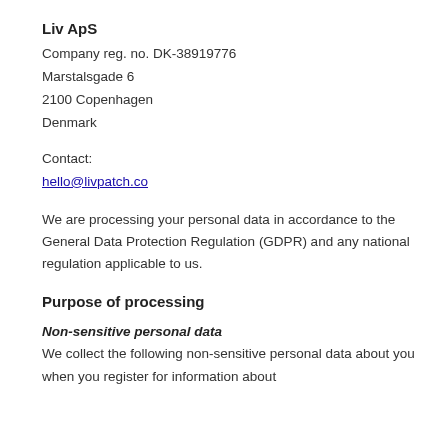Liv ApS
Company reg. no. DK-38919776
Marstalsgade 6
2100 Copenhagen
Denmark
Contact:
hello@livpatch.co
We are processing your personal data in accordance to the General Data Protection Regulation (GDPR) and any national regulation applicable to us.
Purpose of processing
Non-sensitive personal data
We collect the following non-sensitive personal data about you when you register for information about